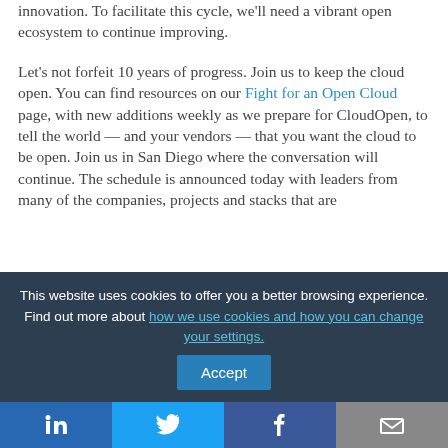innovation. To facilitate this cycle, we'll need a vibrant open ecosystem to continue improving.
Let's not forfeit 10 years of progress. Join us to keep the cloud open. You can find resources on our Fight for an Open Cloud page, with new additions weekly as we prepare for CloudOpen, to tell the world — and your vendors — that you want the cloud to be open. Join us in San Diego where the conversation will continue. The schedule is announced today with leaders from many of the companies, projects and stacks that are
This website uses cookies to offer you a better browsing experience. Find out more about how we use cookies and how you can change your settings.
[Figure (other): Social sharing bar with LinkedIn, Twitter, Facebook, and email icons]